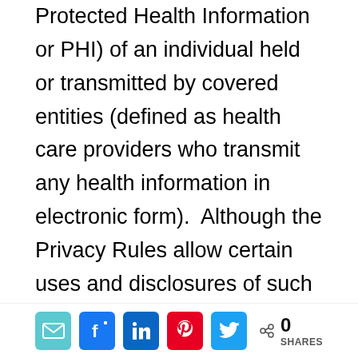Protected Health Information or PHI) of an individual held or transmitted by covered entities (defined as health care providers who transmit any health information in electronic form).  Although the Privacy Rules allow certain uses and disclosures of such information without the consent of the Individual or that Individual's Personal Representative (defined as a person who has the present authority to make health care decisions for that Individual), the HIPAA Privacy Rules, with few exceptions, proscribe the disclosure of PHI unless the Individual or the
0 SHARES